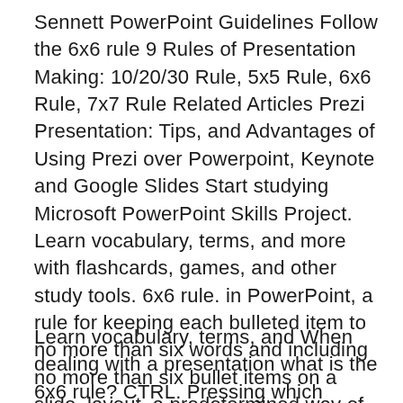Sennett PowerPoint Guidelines Follow the 6x6 rule 9 Rules of Presentation Making: 10/20/30 Rule, 5x5 Rule, 6x6 Rule, 7x7 Rule Related Articles Prezi Presentation: Tips, and Advantages of Using Prezi over Powerpoint, Keynote and Google Slides Start studying Microsoft PowerPoint Skills Project. Learn vocabulary, terms, and more with flashcards, games, and other study tools. 6x6 rule. in PowerPoint, a rule for keeping each bulleted item to no more than six words and including no more than six bullet items on a slide. layout. a predetermined way of organizing the text and objects on a slide. text box.
Learn vocabulary, terms, and When dealing with a presentation what is the 6x6 rule? CTRL. Pressing which   POWERPOINT PRESENTATIONS THAT